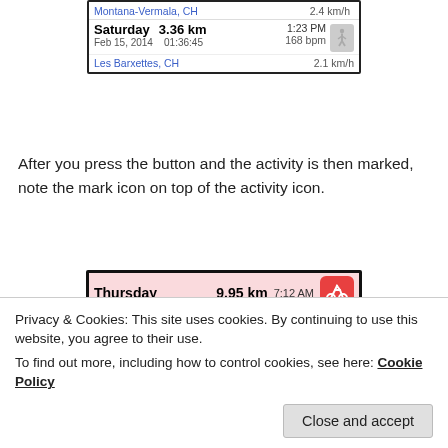[Figure (screenshot): Activity tracker screenshot showing Saturday Feb 15, 2014 run: 3.36 km, 1:23 PM, 01:36:45, 168 bpm, 2.1 km/h. Locations: Montana-Vermala CH and Les Barxettes CH]
After you press the button and the activity is then marked, note the mark icon on top of the activity icon.
[Figure (screenshot): Activity tracker screenshot showing Thursday Feb 20 2014 (9.95 km, 7:12 AM, 30:08, 133 bpm, London GB), Tuesday Feb 18 2014 (3.80 km, 7:5x, 01:31:22, 150 bpm, Montana-Vermala CH, 2.5 km/h) with orange arrow pointing to checkmark icon, Monday Feb 17 2014 (3.86 km, 8:07 AM, 01:37:37, 159 bpm)]
Privacy & Cookies: This site uses cookies. By continuing to use this website, you agree to their use.
To find out more, including how to control cookies, see here: Cookie Policy
Close and accept